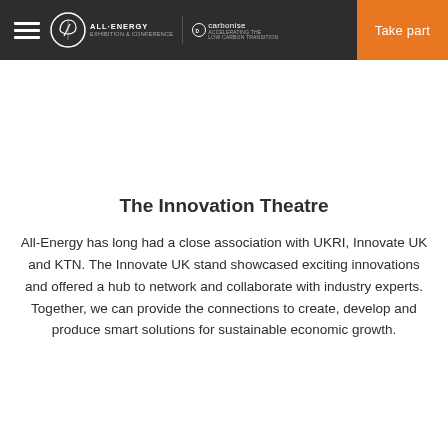All-Energy Decarbonise — Take part
The Innovation Theatre
All-Energy has long had a close association with UKRI, Innovate UK and KTN. The Innovate UK stand showcased exciting innovations and offered a hub to network and collaborate with industry experts. Together, we can provide the connections to create, develop and produce smart solutions for sustainable economic growth.